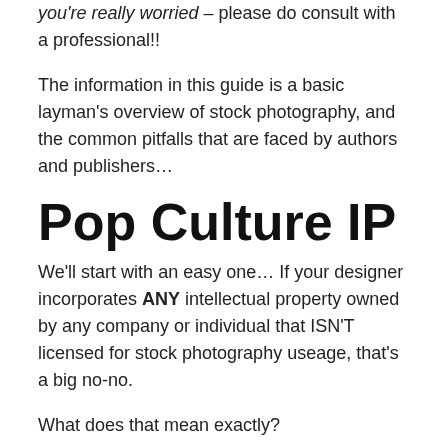you're really worried – please do consult with a professional!!
The information in this guide is a basic layman's overview of stock photography, and the common pitfalls that are faced by authors and publishers…
Pop Culture IP
We'll start with an easy one… If your designer incorporates ANY intellectual property owned by any company or individual that ISN'T licensed for stock photography useage, that's a big no-no.
What does that mean exactly?
Here's an example. This 'stock photo' is available on Pixabay (a free stock photo website) – it's a Halo Elite